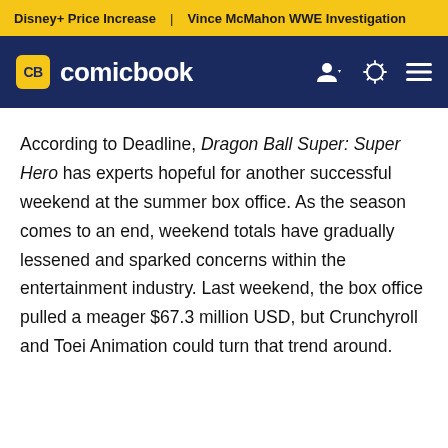Disney+ Price Increase | Vince McMahon WWE Investigation
comicbook
According to Deadline, Dragon Ball Super: Super Hero has experts hopeful for another successful weekend at the summer box office. As the season comes to an end, weekend totals have gradually lessened and sparked concerns within the entertainment industry. Last weekend, the box office pulled a meager $67.3 million USD, but Crunchyroll and Toei Animation could turn that trend around.